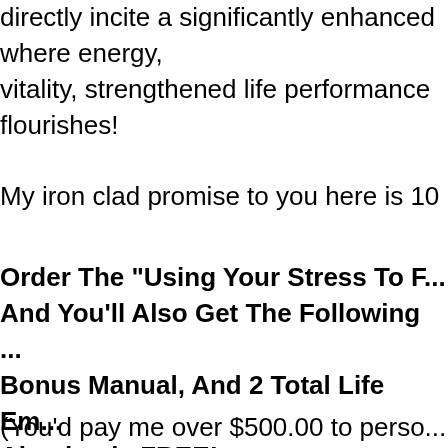directly incite a significantly enhanced where energy, vitality, strengthened life performance flourishes! My iron clad promise to you here is 10
Order The "Using Your Stress To F... And You'll Also Get The Following ... Bonus Manual, And 2 Total Life Em... Absolutely FREE!
(You'd pay me over $500.00 to perso... these bonus gifts address. But these ... bonus gifts are all yours absolutely FR...